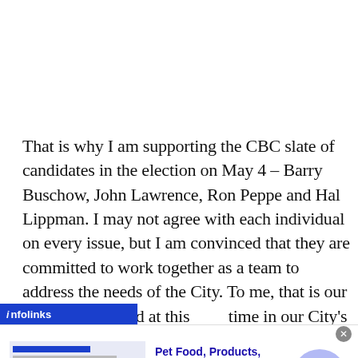That is why I am supporting the CBC slate of candidates in the election on May 4 – Barry Buschow, John Lawrence, Ron Peppe and Hal Lippman. I may not agree with each individual on every issue, but I am convinced that they are committed to work together as a team to address the needs of the City. To me, that is our most critical need at this time in our City's history.
[Figure (other): Infolinks advertisement banner for Chewy.com pet supplies]